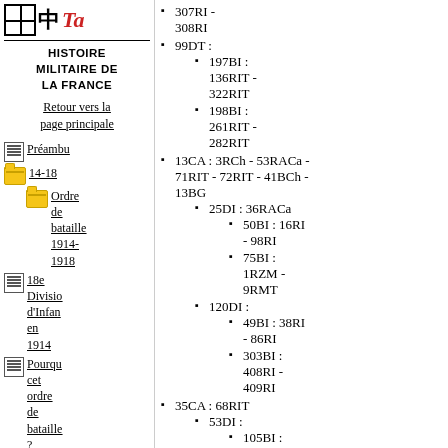[Figure (logo): Website logo with grid icon, Chinese character, and stylized 'Ta' text]
Histoire militaire de la France
Retour vers la page principale
Préambu
14-18
Ordre de bataille 1914-1918
18e Division d'Infanterie en 1914
Pourquoi cet ordre de bataille ?
Histoire des...
307RI - 308RI
99DT :
197BI : 136RIT - 322RIT
198BI : 261RIT - 282RIT
13CA : 3RCh - 53RACa - 71RIT - 72RIT - 41BCh - 13BG
25DI : 36RACa
50BI : 16RI - 98RI
75BI : 1RZM - 9RMT
120DI :
49BI : 38RI - 86RI
303BI : 408RI - 409RI
35CA : 68RIT
53DI :
105BI : 205RI -